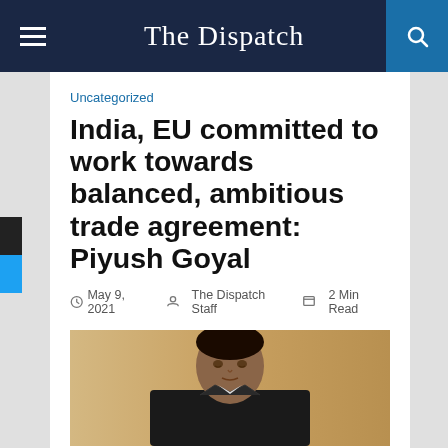The Dispatch
Uncategorized
India, EU committed to work towards balanced, ambitious trade agreement: Piyush Goyal
May 9, 2021   The Dispatch Staff   2 Min Read
[Figure (photo): Photo of a person (Piyush Goyal) in a formal setting, cropped to show head and upper body]